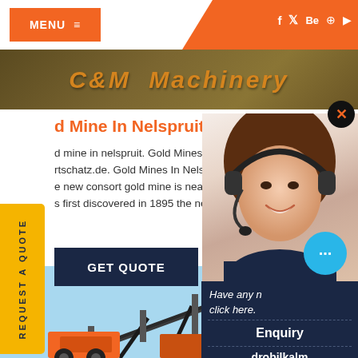MENU  ≡
[Figure (screenshot): C&M Machinery website header with orange navigation bar, social media icons (f, twitter, Behance, Pinterest, YouTube), orange menu button, and C&M Machinery gold/orange logo on earthy brown background]
d Mine In Nelspruit
d mine in nelspruit. Gold Mines In Nelspruit rtschatz.de. Gold Mines In Nelspruit. gold r e new consort gold mine is near nelspruit s s first discovered in 1895 the new consort
GET QUOTE
REQUEST A QUOTE
Have any n click here.
Quot ⋀
Enquiry
drobilkalm
[Figure (photo): Woman with headset smiling, customer service agent photo on right side]
[Figure (photo): Mining machinery/conveyor equipment against blue sky background at bottom of page]